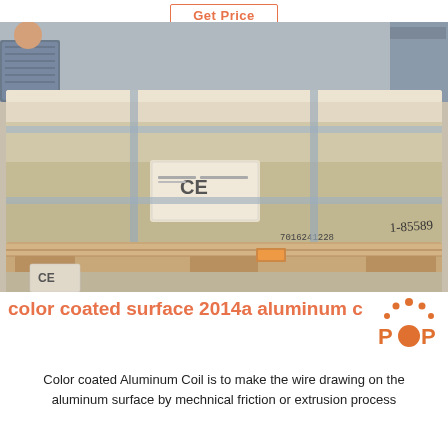Get Price
[Figure (photo): Pallets of color coated aluminum coil/sheet wrapped in beige/cream packaging material with blue straps, on wooden pallets, CE certification labels visible, handwritten markings on pallet, person visible in background.]
color coated surface 2014a aluminum c
[Figure (logo): POP logo — orange dot grid arc above the word POP with a large orange circle as the O]
Color coated Aluminum Coil is to make the wire drawing on the aluminum surface by mechnical friction or extrusion process